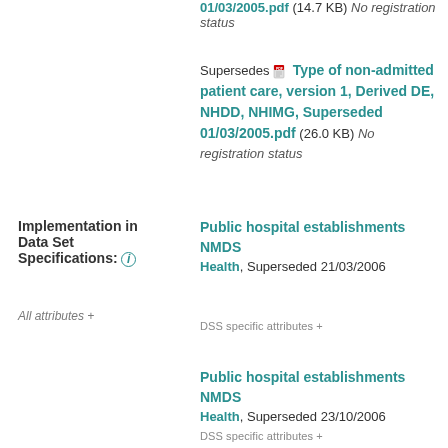01/03/2005.pdf (14.7 KB) No registration status
Supersedes Type of non-admitted patient care, version 1, Derived DE, NHDD, NHIMG, Superseded 01/03/2005.pdf (26.0 KB) No registration status
Implementation in Data Set Specifications: i
All attributes +
Public hospital establishments NMDS
Health, Superseded 21/03/2006
DSS specific attributes +
Public hospital establishments NMDS
Health, Superseded 23/10/2006
DSS specific attributes +